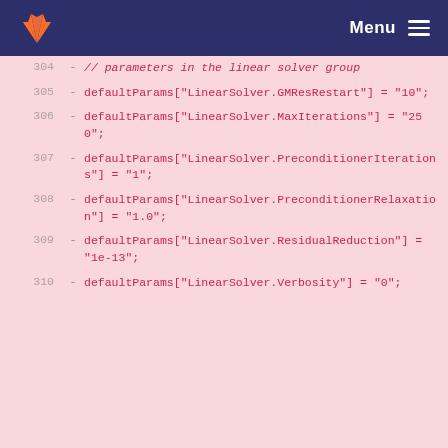GitLab | Menu
304  -    // parameters in the linear solver group
305  -    defaultParams["LinearSolver.GMResRestart"] = "10";
306  -    defaultParams["LinearSolver.MaxIterations"] = "250";
307  -    defaultParams["LinearSolver.PreconditionerIterations"] = "1";
308  -    defaultParams["LinearSolver.PreconditionerRelaxation"] = "1.0";
309  -    defaultParams["LinearSolver.ResidualReduction"] = "1e-13";
310  -    defaultParams["LinearSolver.Verbosity"] = "0";